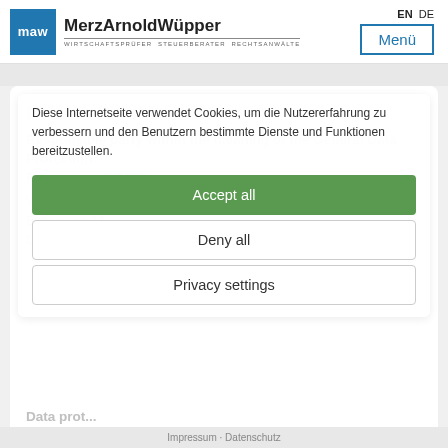[Figure (logo): MerzArnoldWüpper logo with blue MAW square and company name]
EN  DE  Menü
PRIVACY POLICY
Diese Internetseite verwendet Cookies, um die Nutzererfahrung zu verbessern und den Benutzern bestimmte Dienste und Funktionen bereitzustellen.
Responsible party within the meaning of the General Data Protection Regulation (GDPR):
WP/StB/RA Dr. Siegfried Merz
Birkenweg 24
D-64295 Darmstadt
Accept all
Deny all
Privacy settings
Data prot...
Impressum · Datenschutz